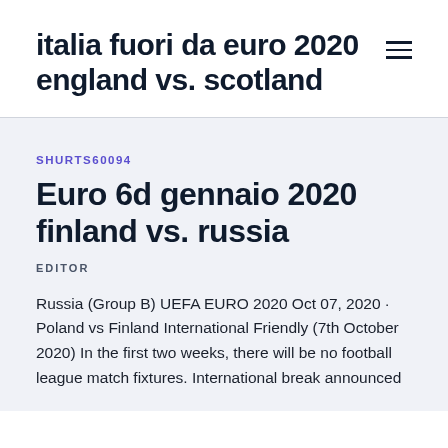italia fuori da euro 2020 england vs. scotland
SHURTS60094
Euro 6d gennaio 2020 finland vs. russia
EDITOR
Russia (Group B) UEFA EURO 2020 Oct 07, 2020 · Poland vs Finland International Friendly (7th October 2020) In the first two weeks, there will be no football league match fixtures. International break announced